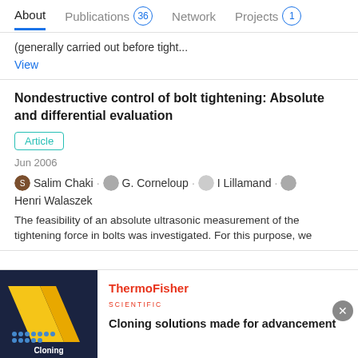About  Publications 36  Network  Projects 1
(generally carried out before tight...
View
Nondestructive control of bolt tightening: Absolute and differential evaluation
Article
Jun 2006
Salim Chaki · G. Corneloup · I Lillamand · Henri Walaszek
The feasibility of an absolute ultrasonic measurement of the tightening force in bolts was investigated. For this purpose, we
[Figure (advertisement): ThermoFisher Scientific advertisement with dark navy background image showing diagonal yellow stripe and 'Cloning' label with blue dots. Ad text reads: 'Cloning solutions made for advancement']